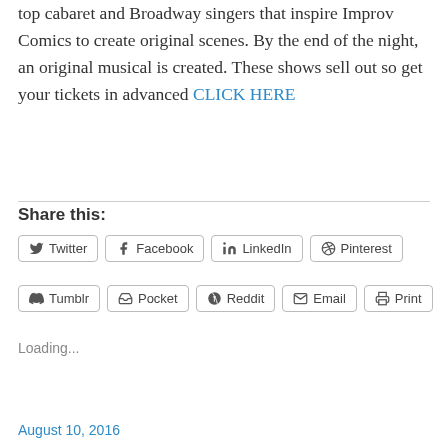top cabaret and Broadway singers that inspire Improv Comics to create original scenes. By the end of the night, an original musical is created. These shows sell out so get your tickets in advanced CLICK HERE
Share this:
Twitter
Facebook
LinkedIn
Pinterest
Tumblr
Pocket
Reddit
Email
Print
Loading...
August 10, 2016